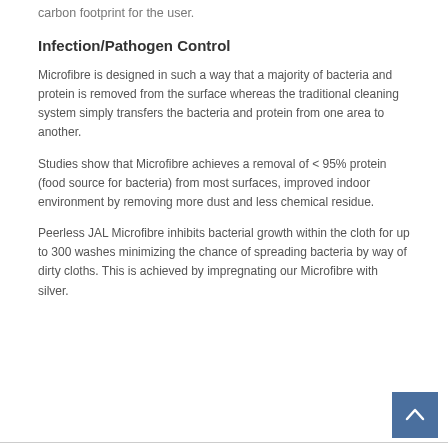carbon footprint for the user.
Infection/Pathogen Control
Microfibre is designed in such a way that a majority of bacteria and protein is removed from the surface whereas the traditional cleaning system simply transfers the bacteria and protein from one area to another.
Studies show that Microfibre achieves a removal of < 95% protein (food source for bacteria) from most surfaces, improved indoor environment by removing more dust and less chemical residue.
Peerless JAL Microfibre inhibits bacterial growth within the cloth for up to 300 washes minimizing the chance of spreading bacteria by way of dirty cloths. This is achieved by impregnating our Microfibre with silver.